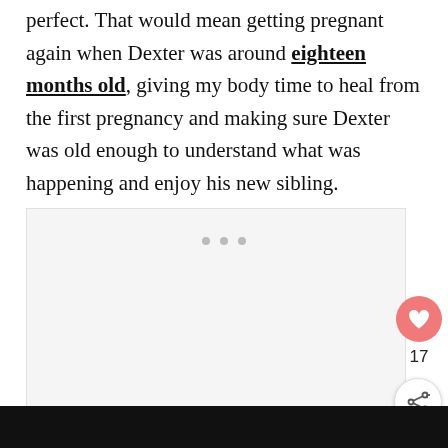perfect. That would mean getting pregnant again when Dexter was around eighteen months old, giving my body time to heal from the first pregnancy and making sure Dexter was old enough to understand what was happening and enjoy his new sibling.
[Figure (other): Gray placeholder ad box with three small dots indicating an advertisement loading area, with a pink heart/like button showing count 17 and a share button overlapping the right side]